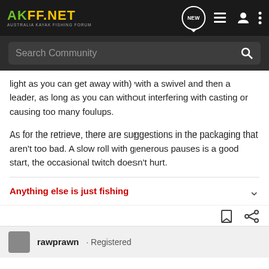[Figure (screenshot): AKFF.NET Australia Kayak Fishing Forum navigation bar with logo, NEW button, list icon, user icon, and more options icon]
[Figure (screenshot): Search Community search bar with magnifying glass icon]
light as you can get away with) with a swivel and then a leader, as long as you can without interfering with casting or causing too many foulups.

As for the retrieve, there are suggestions in the packaging that aren't too bad. A slow roll with generous pauses is a good start, the occasional twitch doesn't hurt.
Anything else is just fishing
rawprawn · Registered